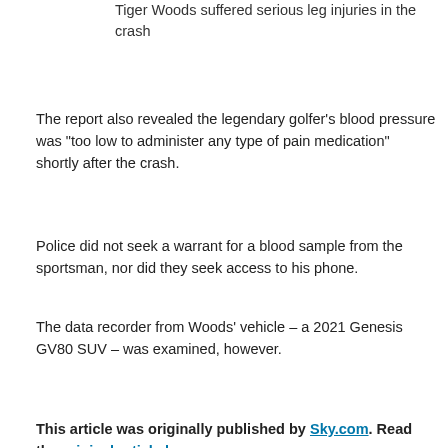Tiger Woods suffered serious leg injuries in the crash
The report also revealed the legendary golfer’s blood pressure was “too low to administer any type of pain medication” shortly after the crash.
Police did not seek a warrant for a blood sample from the sportsman, nor did they seek access to his phone.
The data recorder from Woods’ vehicle – a 2021 Genesis GV80 SUV – was examined, however.
This article was originally published by Sky.com. Read the original article here.
[Figure (photo): Partial view of a person, cropped at bottom of page]